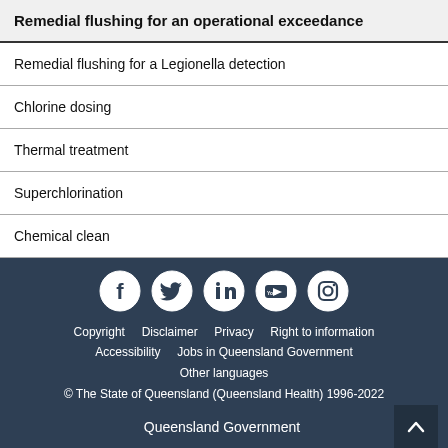Remedial flushing for an operational exceedance
Remedial flushing for a Legionella detection
Chlorine dosing
Thermal treatment
Superchlorination
Chemical clean
Copyright  Disclaimer  Privacy  Right to information  Accessibility  Jobs in Queensland Government  Other languages  © The State of Queensland (Queensland Health) 1996-2022  Queensland Government